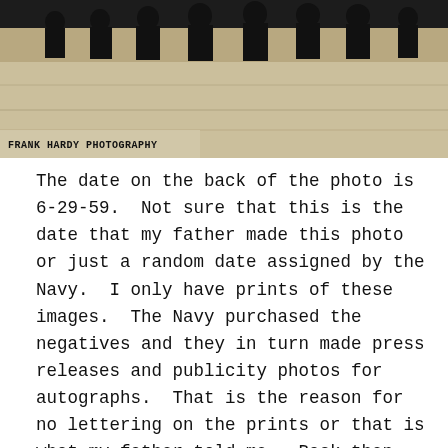[Figure (photo): Black and white photograph showing a group of people (likely Navy Blue Angels personnel) posed together, with 'FRANK HARDY PHOTOGRAPHY' caption printed at the bottom left of the image.]
FRANK HARDY PHOTOGRAPHY
The date on the back of the photo is 6-29-59.  Not sure that this is the date that my father made this photo or just a random date assigned by the Navy.  I only have prints of these images.  The Navy purchased the negatives and they in turn made press releases and publicity photos for autographs.  That is the reason for no lettering on the prints or that is what my father told me.  Back then the Blue Angels did not have a staff photographer or publicity officer for the team.  In fact, from what I have learned, those two jobs were not added until many years later.  It would be interesting if anyone seeing this post might be able to enlightened us with any details on any of this.  Below is one other group photo of the Blue Angels that my